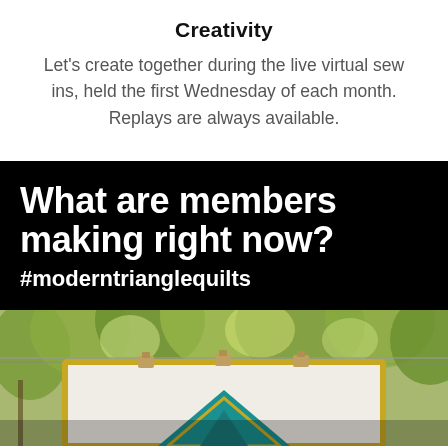Creativity
Let's create together during the live virtual sew ins, held the first Wednesday of each month. Replays are always available.
What are members making right now?
#moderntrianglequilts
[Figure (photo): A quilt with a teal and yellow chevron/triangle design hanging outdoors on a clothesline between trees, held with binder clips, photographed from below looking up.]